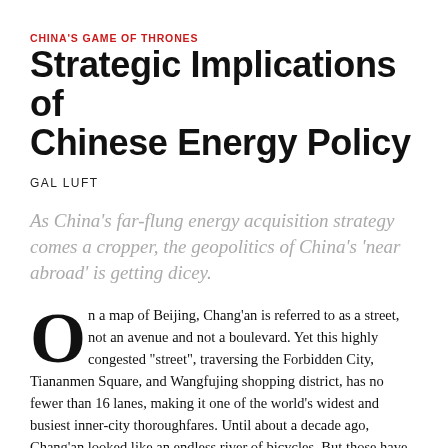CHINA'S GAME OF THRONES
Strategic Implications of Chinese Energy Policy
GAL LUFT
As China’s far-flung energy acquisition strategy comes a cropper, the geopolitics of China’s ‘near abroad’ is getting dicey.
On a map of Beijing, Chang’an is referred to as a street, not an avenue and not a boulevard. Yet this highly congested “street”, traversing the Forbidden City, Tiananmen Square, and Wangfujing shopping district, has no fewer than 16 lanes, making it one of the world’s widest and busiest inner-city thoroughfares. Until about a decade ago, Chang’an looked like an endless river of bicycles. But those have since been banned—except for bikes powered by an electric motor—to make way for